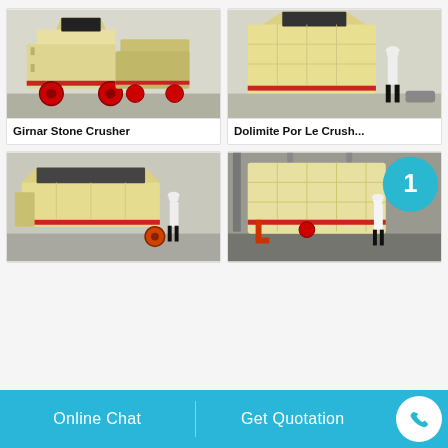[Figure (photo): Girnar Stone Crusher machine - large yellow industrial impact crusher on factory floor]
Girnar Stone Crusher
[Figure (photo): Dolimite Por Le Crush... - large yellow impact crusher with person standing next to it for scale]
Dolimite Por Le Crush...
[Figure (photo): Yellow impact crusher machine with person in white hardhat standing beside it]
[Figure (photo): Industrial crusher machine in steel factory with teal/cyan circular logo and person in hardhat]
Online Chat
Get Quotation